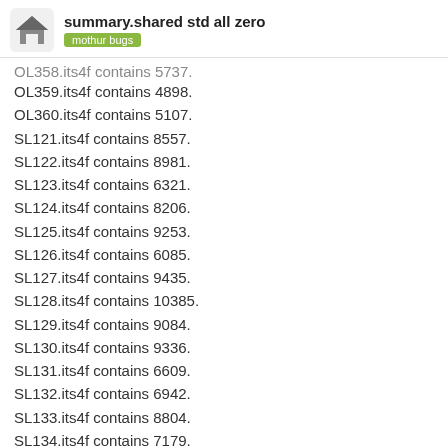summary.shared std all zero — mothur bugs
OL358.its4f contains 5737.
OL359.its4f contains 4898.
OL360.its4f contains 5107.
SL121.its4f contains 8557.
SL122.its4f contains 8981.
SL123.its4f contains 6321.
SL124.its4f contains 8206.
SL125.its4f contains 9253.
SL126.its4f contains 6085.
SL127.its4f contains 9435.
SL128.its4f contains 10385.
SL129.its4f contains 9084.
SL130.its4f contains 9336.
SL131.its4f contains 6609.
SL132.its4f contains 6942.
SL133.its4f contains 8804.
SL134.its4f contains 7179.
SL135.its4f contains 9275.
SL136.its4f contains 8972.
3 / 6